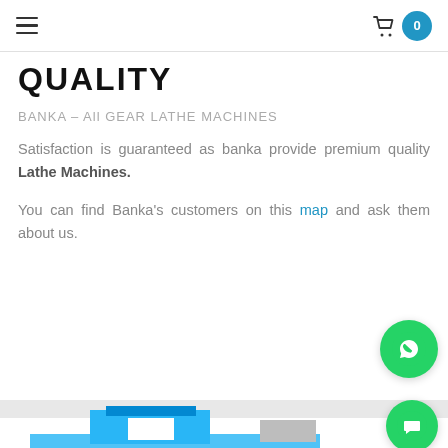Navigation bar with hamburger menu and cart with 0 items
QUALITY
BANKA – All GEAR LATHE MACHINES
Satisfaction is guaranteed as banka provide premium quality Lathe Machines.
You can find Banka's customers on this map and ask them about us.
[Figure (illustration): WhatsApp floating button (green circle with phone icon)]
[Figure (illustration): Gray divider strip]
[Figure (illustration): Green chat button (circle with chat icon) and partial machine/lathe illustration in blue and gray at bottom]